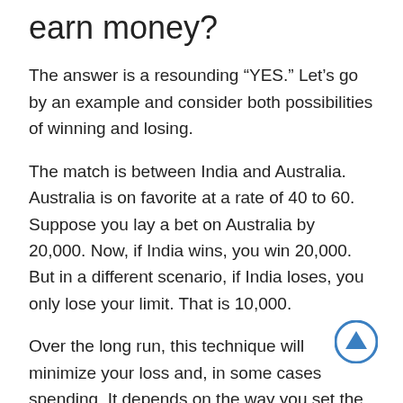earn money?
The answer is a resounding “YES.” Let’s go by an example and consider both possibilities of winning and losing.
The match is between India and Australia. Australia is on favorite at a rate of 40 to 60. Suppose you lay a bet on Australia by 20,000. Now, if India wins, you win 20,000. But in a different scenario, if India loses, you only lose your limit. That is 10,000.
Over the long run, this technique will minimize your loss and, in some cases spending. It depends on the way you set the limits.
In a different scenario, let’s say you are playing a